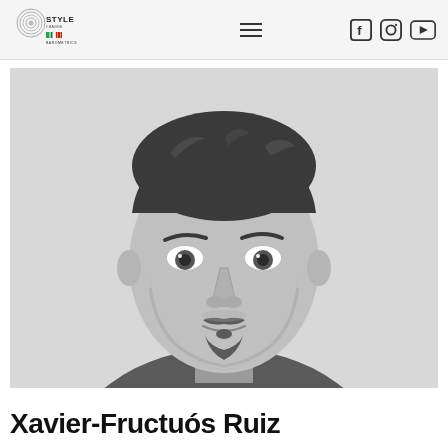StyleChange Barometrics — navigation header with logo, hamburger menu, and social icons (Facebook, Instagram, YouTube)
[Figure (photo): Black and white portrait photo of Xavier-Fructuós Ruiz, a young man with dark hair and a goatee beard, wearing a V-neck scrubs top, looking directly at the camera.]
Xavier-Fructuós Ruiz